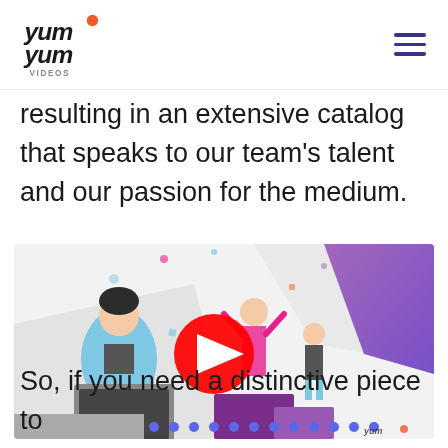Yum Yum Videos logo and navigation menu
resulting in an extensive catalog that speaks to our team's talent and our passion for the medium.
[Figure (screenshot): Animated illustration showing people at work with a YouTube play button overlay, dots carousel indicator below, and Yum Yum Videos watermark]
So, if you need a distinctive piece to